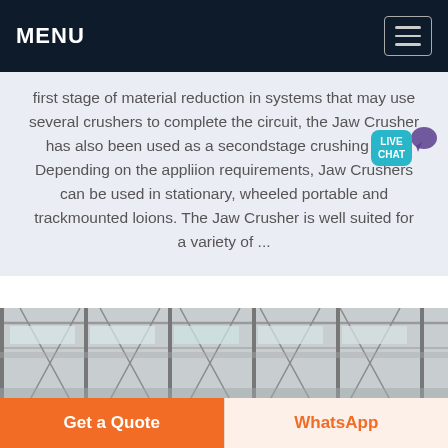MENU
first stage of material reduction in systems that may use several crushers to complete the circuit, the Jaw Crusher has also been used as a secondstage crushing unit. Depending on the appliion requirements, Jaw Crushers can be used in stationary, wheeled portable and trackmounted loions. The Jaw Crusher is well suited for a variety of ...
[Figure (photo): Interior of an industrial facility with steel roof structure, trusses, and large windows letting in natural light.]
Get a Quote
WhatsApp